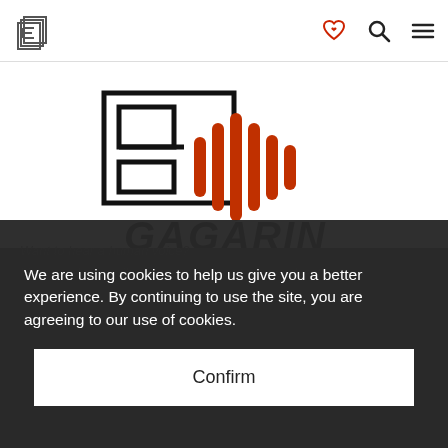[Figure (logo): LE Podcast logo - stacked pages icon in top left header]
[Figure (logo): Heart/handshake icon in red, search icon, hamburger menu icon in header]
[Figure (logo): Large Gagarin podcast logo - geometric LE letters with orange soundwave/microphone graphic and GAGARIN text below]
Want to hear a human voice?
Listen and subscribe wherever you get your podcasts.
We are using cookies to help us give you a better experience. By continuing to use the site, you are agreeing to our use of cookies.
Confirm